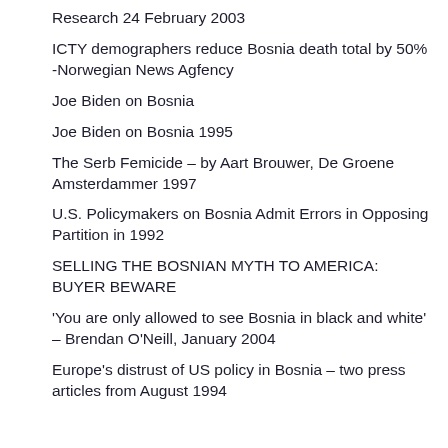Research 24 February 2003
ICTY demographers reduce Bosnia death total by 50% -Norwegian News Agfency
Joe Biden on Bosnia
Joe Biden on Bosnia 1995
The Serb Femicide – by Aart Brouwer, De Groene Amsterdammer 1997
U.S. Policymakers on Bosnia Admit Errors in Opposing Partition in 1992
SELLING THE BOSNIAN MYTH TO AMERICA: BUYER BEWARE
'You are only allowed to see Bosnia in black and white' – Brendan O'Neill, January 2004
Europe's distrust of US policy in Bosnia – two press articles from August 1994